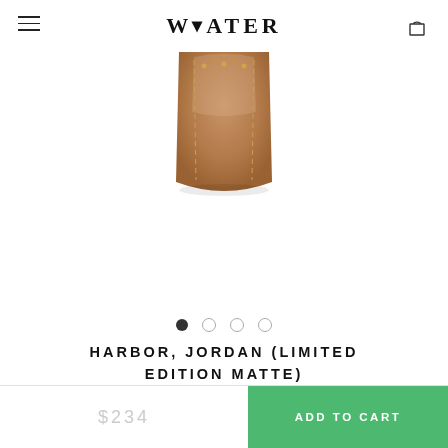WATER
[Figure (photo): Partial view of a tan/cognac leather watch strap with gold stitching detail, cropped at top]
HARBOR, JORDAN (LIMITED EDITION MATTE)
★★★★★ 28 reviews
$234  ADD TO CART